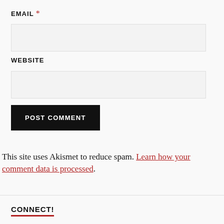EMAIL *
WEBSITE
POST COMMENT
This site uses Akismet to reduce spam. Learn how your comment data is processed.
CONNECT!